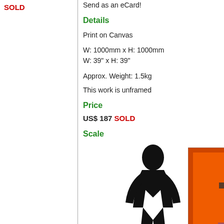SOLD
Send as an eCard!
Details
Print on Canvas
W: 1000mm x H: 1000mm
W: 39" x H: 39"
Approx. Weight: 1.5kg
This work is unframed
Price
US$ 187 SOLD
Scale
[Figure (illustration): Scale comparison image showing a human silhouette next to a small artwork photo]
Tweet I love this art!    Share on Facebook
View all 26 works by Cad...
About Caddelle
Caddelle was born in Joh... South Africa in 1967. Ca... moment in time, using va... mediums. Currently focu... Photography as it is givin... amout of pleasure in an i... Paintings are like slow re... capsules that makes one... the simplicity and comple... human race. A photo "jus...
Price Range
US$ 90-332
Email
Caddelle@southafricana...
Exhibitions
1989 - Joined the BAWA... movement that explored...